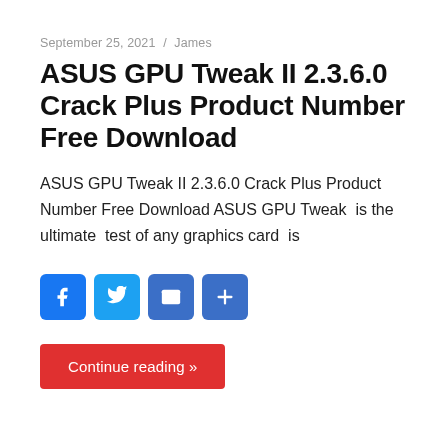September 25, 2021 / James
ASUS GPU Tweak II 2.3.6.0 Crack Plus Product Number Free Download
ASUS GPU Tweak II 2.3.6.0 Crack Plus Product Number Free Download ASUS GPU Tweak  is the ultimate  test of any graphics card  is
[Figure (infographic): Social sharing buttons: Facebook (blue), Twitter (light blue), Email (blue), Share/Plus (blue)]
Continue reading »